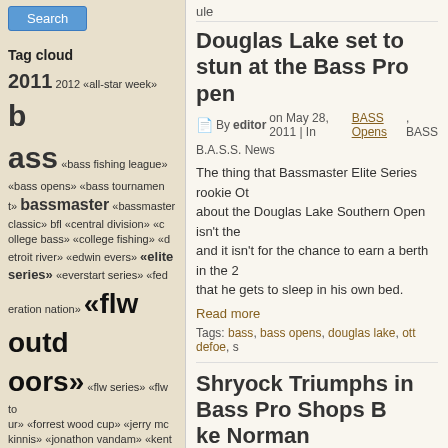Search (button)
Tag cloud
2011 2012 «all-star week» b ass «bass fishing league» «bass opens» «bass tournament» bassmaster «bassmaster classic» bfl «central division» «college bass» «college fishing» «detroit river» «edwin evers» «elite series» «everstart series» «federation nation» «flw outdoors» «flw series» «flw tour» «forrest wood cup» «jerry mckinnis» «jonathon vandam» «kentucky lake» «kevin vandam» kvd «lake champlain» «lake chickamauga» «lake erie» «lake guntersville» «lake st clair» «louisiana delta» michigan «nate wellman» «national championship» «national guard» nbaa «new orleans» «northern division» «northern opens» «ohio river» «ott defoe» paa
ule
Douglas Lake set to stun at the Bass Pro pen
By editor on May 28, 2011 | In BASS Opens, BASS
B.A.S.S. News
The thing that Bassmaster Elite Series rookie Ot about the Douglas Lake Southern Open isn't the and it isn't for the chance to earn a berth in the 2 that he gets to sleep in his own bed.
Read more
Tags: bass, bass opens, douglas lake, ott defoe, s
Shryock Triumphs in Bass Pro Shops B ke Norman
By editor on Mar 26, 2011 | In Bass Tournaments, B ack »
[Figure (photo): Photo of a bass boat or fishing equipment]
CORNELIUS, N.C. — into a bass boat four yea